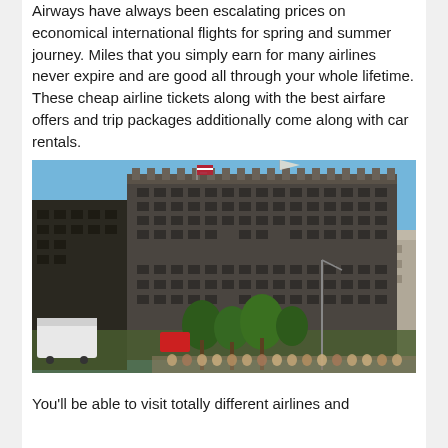Airways have always been escalating prices on economical international flights for spring and summer journey. Miles that you simply earn for many airlines never expire and are good all through your whole lifetime. These cheap airline tickets along with the best airfare offers and trip packages additionally come along with car rentals.
[Figure (photo): A large multi-story dark hotel or office building photographed from street level on a sunny day with blue sky, palm trees in the foreground, and crowds of people visible at street level.]
You'll be able to visit totally different airlines and